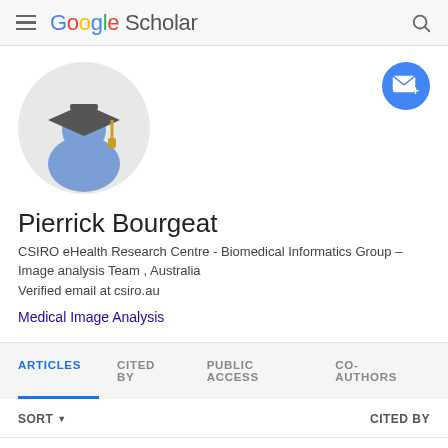Google Scholar
[Figure (illustration): Google Scholar profile avatar - graduation cap figure in blue and grey on light grey circle background]
[Figure (illustration): Blue circular follow/email button with envelope and plus icon]
Pierrick Bourgeat
CSIRO eHealth Research Centre - Biomedical Informatics Group – Image analysis Team , Australia
Verified email at csiro.au
Medical Image Analysis
ARTICLES   CITED BY   PUBLIC ACCESS   CO-AUTHORS
SORT ▼   CITED BY